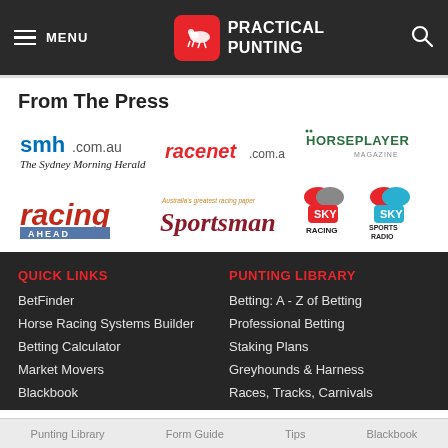MENU | PRACTICAL PUNTING
From The Press
[Figure (logo): smh.com.au - The Sydney Morning Herald logo]
[Figure (logo): racenet.com.au logo]
[Figure (logo): HorsePlayer Magazine logo]
[Figure (logo): Racing Ahead logo]
[Figure (logo): Australia's greatest racing paper Sportsman logo]
[Figure (logo): Sky Racing and Sky Sports Radio logos]
QUICK LINKS
PUNTING LIBRARY
BetFinder
Betting: A - Z of Betting
Horse Racing Systems Builder
Professional Betting
Betting Calculator
Staking Plans
Market Movers
Greyhounds & Harness
Blackbook
Races, Tracks, Carnivals
Punting Library | Form Guide | Tips | Blackbook